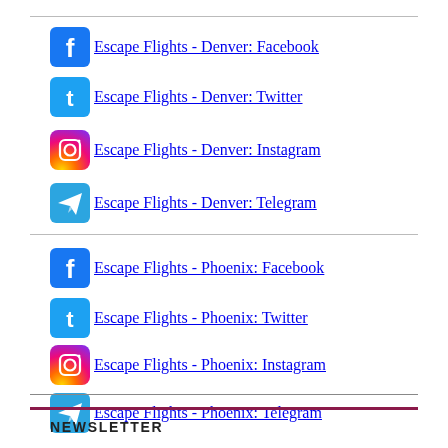Escape Flights - Denver: Facebook
Escape Flights - Denver: Twitter
Escape Flights - Denver: Instagram
Escape Flights - Denver: Telegram
Escape Flights - Phoenix: Facebook
Escape Flights - Phoenix: Twitter
Escape Flights - Phoenix: Instagram
Escape Flights - Phoenix: Telegram
NEWSLETTER